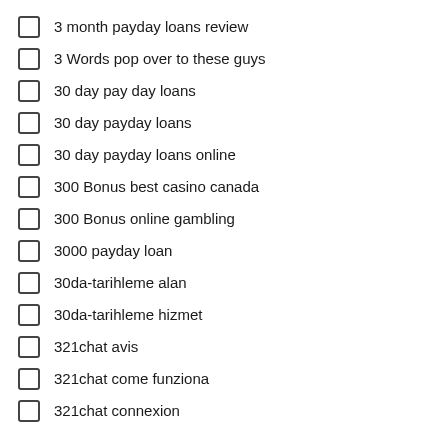3 month payday loans review
3 Words pop over to these guys
30 day pay day loans
30 day payday loans
30 day payday loans online
300 Bonus best casino canada
300 Bonus online gambling
3000 payday loan
30da-tarihleme alan
30da-tarihleme hizmet
321chat avis
321chat come funziona
321chat connexion